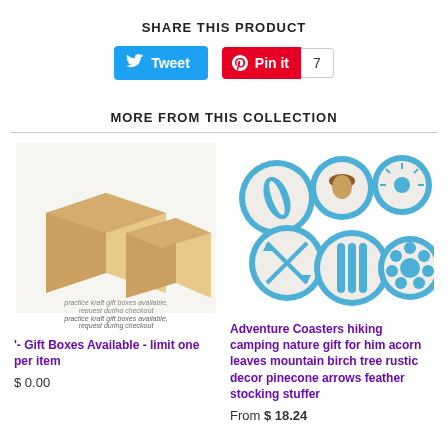SHARE THIS PRODUCT
[Figure (infographic): Tweet button (blue) and Pin it button (red) with count of 7]
MORE FROM THIS COLLECTION
[Figure (photo): Two kraft cardboard gift boxes on white background with caption: practice kraft gift boxes available, request during checkout]
'- Gift Boxes Available - limit one per item
$ 0.00
[Figure (photo): Six round adventure coasters with blue nature designs (feather, acorn, snowflake, arrows, birch trees, pinecone/sunflower)]
Adventure Coasters hiking camping nature gift for him acorn leaves mountain birch tree rustic decor pinecone arrows feather stocking stuffer
From $ 18.24